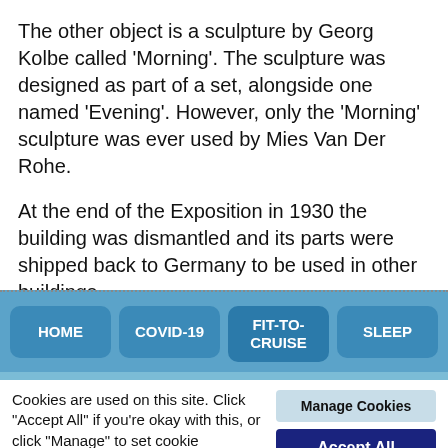The other object is a sculpture by Georg Kolbe called 'Morning'. The sculpture was designed as part of a set, alongside one named 'Evening'. However, only the 'Morning' sculpture was ever used by Mies Van Der Rohe.
At the end of the Exposition in 1930 the building was dismantled and its parts were shipped back to Germany to be used in other buildings.
[Figure (screenshot): Website navigation bar with four blue rounded-rectangle buttons labeled HOME, COVID-19, FIT-TO-CRUISE, SLEEP on a medium blue background]
Cookies are used on this site. Click "Accept All" if you're okay with this, or click "Manage" to set cookie preferences.
Manage Cookies
Accept All